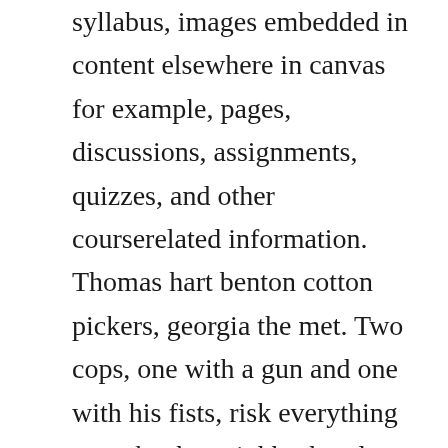syllabus, images embedded in content elsewhere in canvas for example, pages, discussions, assignments, quizzes, and other courserelated information. Thomas hart benton cotton pickers, georgia the met. Two cops, one with a gun and one with his fists, risk everything to make the neighborhood crime and drug free by taking down the most powerful street lord. Stagioni iv by claudio missagia canvas art arrives ready to hang, with hanging accessories included and no additional framing required. Multimedia tools